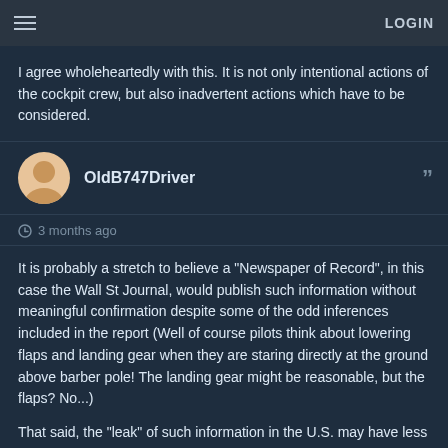LOGIN
I agree wholeheartedly with this. It is not only intentional actions of the cockpit crew, but also inadvertent actions which have to be considered.
OldB747Driver
3 months ago
It is probably a stretch to believe a "Newspaper of Record", in this case the Wall St Journal, would publish such information without meaningful confirmation despite some of the odd inferences included in the report (Well of course pilots think about lowering flaps and landing gear when they are staring directly at the ground above barber pole! The landing gear might be reasonable, but the flaps? No...)
That said, the "leak" of such information in the U.S. may have less to do with embarrassing China as putting a finger on the scales of the proposal by airlines to extend medical certification of pilots to the age of 67... I'm on record trying to extol the virtue of experience in the cockpit, but due to human biology and typical aging, there is a limit to the usefulness of that concept and this incident may be used as a way of manipulating opinion on potential legislation on the matter, thus the